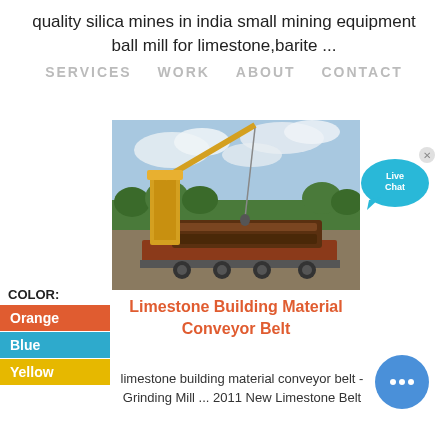quality silica mines in india small mining equipment ball mill for limestone,barite ...
SERVICES   WORK   ABOUT   CONTACT
[Figure (photo): A yellow crane lifting heavy equipment (a large belt conveyor or industrial machine) on a flatbed trailer at an outdoor site with trees and cloudy sky.]
[Figure (other): Live Chat bubble icon in cyan/blue]
COLOR:
Orange
Blue
Yellow
Limestone Building Material Conveyor Belt
limestone building material conveyor belt - Grinding Mill ... 2011 New Limestone Belt
[Figure (other): Blue circular chat button with three dots]